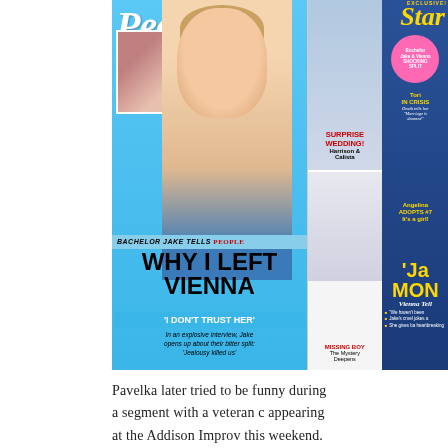[Figure (photo): Collage of magazine covers. Left: People magazine cover featuring Bachelor Jake Pavelka with headline 'WHY I LEFT VIENNA' and subheading 'I DON'T TRUST HER'. Center: smaller People magazine panels showing 'SURPRISE WEDDING! Harrison & Calista' and 'MISSING BOY The Mystery Deepens'. Right: Star magazine cover with 'Tori IN CRISIS', 'Angelina ADOPTS #7 It's a girl!' and 'Jake Vienna SHOCKING SPLIT' stories.]
Pavelka later tried to be funny during a segment with a veteran c appearing at the Addison Improv this weekend.
"Comedian Greg Girardo," he said. "Not to be confused with Gira